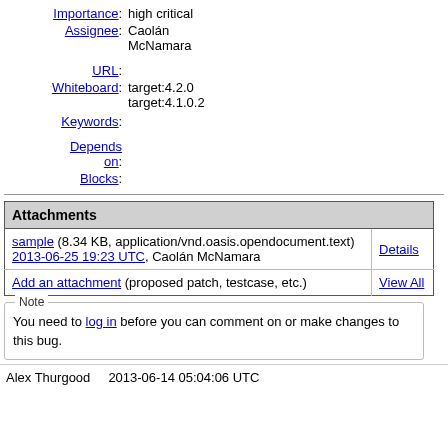Importance: high critical
Assignee: Caolán McNamara
URL:
Whiteboard: target:4.2.0 target:4.1.0.2
Keywords:
Depends on:
Blocks:
| Attachments |  |
| --- | --- |
| sample (8.34 KB, application/vnd.oasis.opendocument.text)
2013-06-25 19:23 UTC, Caolán McNamara | Details |
| Add an attachment (proposed patch, testcase, etc.) | View All |
Note
You need to log in before you can comment on or make changes to this bug.
Alex Thurgood    2013-06-14 05:04:06 UTC